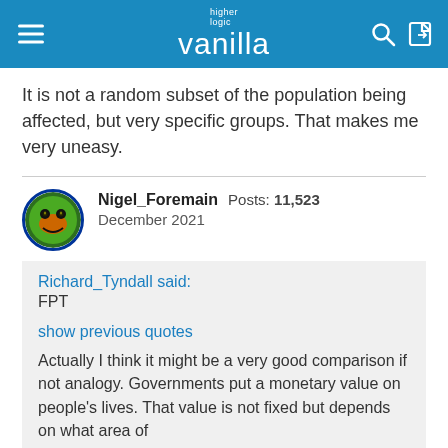higher logic vanilla
It is not a random subset of the population being affected, but very specific groups. That makes me very uneasy.
Nigel_Foremain  Posts: 11,523  December 2021
Richard_Tyndall said:
FPT

show previous quotes
Actually I think it might be a very good comparison if not analogy. Governments put a monetary value on people's lives. That value is not fixed but depends on what area of